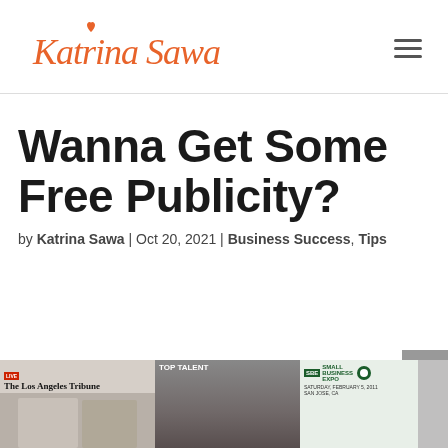Katrina Sawa [logo]
Wanna Get Some Free Publicity?
by Katrina Sawa | Oct 20, 2021 | Business Success, Tips
[Figure (photo): Strip of media/publication images including The Los Angeles Tribune, Top Talent magazine cover, Small SBE Business Expo banner, and a gray placeholder image]